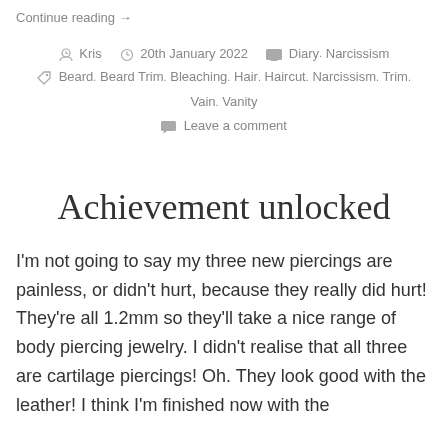Continue reading →
Kris   20th January 2022   Diary, Narcissism
Beard, Beard Trim, Bleaching, Hair, Haircut, Narcissism, Trim, Vain, Vanity
Leave a comment
Achievement unlocked
I'm not going to say my three new piercings are painless, or didn't hurt, because they really did hurt! They're all 1.2mm so they'll take a nice range of body piercing jewelry. I didn't realise that all three are cartilage piercings! Oh. They look good with the leather! I think I'm finished now with the